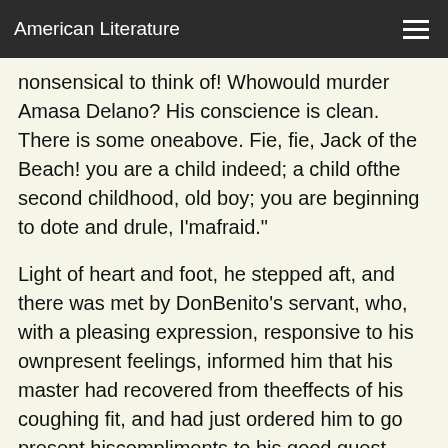American Literature
nonsensical to think of! Whowould murder Amasa Delano? His conscience is clean. There is some oneabove. Fie, fie, Jack of the Beach! you are a child indeed; a child ofthe second childhood, old boy; you are beginning to dote and drule, I'mafraid."
Light of heart and foot, he stepped aft, and there was met by DonBenito's servant, who, with a pleasing expression, responsive to his ownpresent feelings, informed him that his master had recovered from theeffects of his coughing fit, and had just ordered him to go present hiscompliments to his good guest, Don Amasa, and say that he (Don Benito)would soon have the happiness to rejoin him.